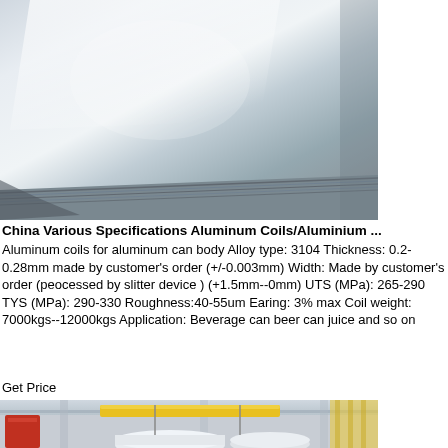[Figure (photo): Close-up photo of stacked aluminum sheets/coils with a reflective silver surface, showing the edge and layered stack on a wooden surface.]
China Various Specifications Aluminum Coils/Aluminium ...
Aluminum coils for aluminum can body Alloy type: 3104 Thickness: 0.2-0.28mm made by customer's order (+/-0.003mm) Width: Made by customer's order (peocessed by slitter device ) (+1.5mm--0mm) UTS (MPa): 265-290 TYS (MPa): 290-330 Roughness:40-55um Earing: 3% max Coil weight: 7000kgs--12000kgs Application: Beverage can beer can juice and so on
Get Price
[Figure (photo): Industrial warehouse/factory interior showing aluminum coils being handled by overhead yellow cranes with white coils on the floor.]